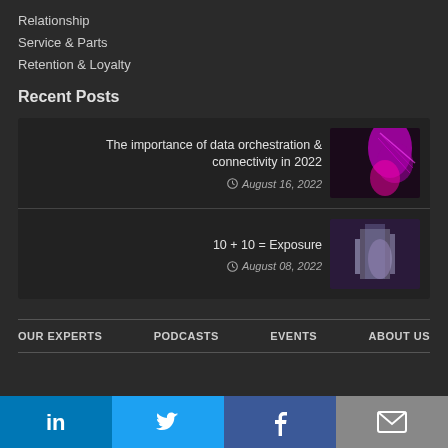Relationship
Service & Parts
Retention & Loyalty
Recent Posts
The importance of data orchestration & connectivity in 2022
August 16, 2022
10 + 10 = Exposure
August 08, 2022
OUR EXPERTS | PODCASTS | EVENTS | ABOUT US
[Figure (other): Social media footer bar with LinkedIn, Twitter, Facebook, and email icons]